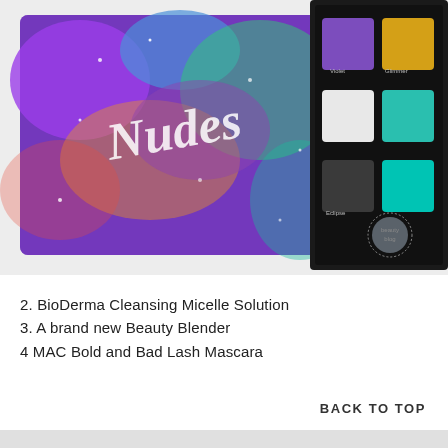[Figure (photo): Photo showing two makeup items on a white fluffy surface: on the left, a colorful glitter palette box with purple, blue, green, and orange hues with a cursive logo; on the right, an open eyeshadow palette with six shades: purple, gold/yellow, white/silver, teal, dark grey/black, and bright teal. A small circular watermark logo is visible in the lower right of the photo.]
2. BioDerma Cleansing Micelle Solution
3. A brand new Beauty Blender
4 MAC Bold and Bad Lash Mascara
BACK TO TOP